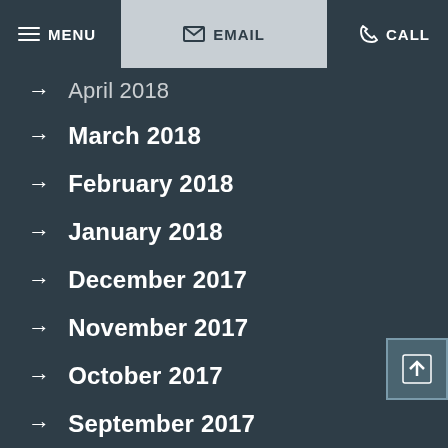MENU   EMAIL   CALL
→ April 2018
→ March 2018
→ February 2018
→ January 2018
→ December 2017
→ November 2017
→ October 2017
→ September 2017
→ August 2017
→ July 2017